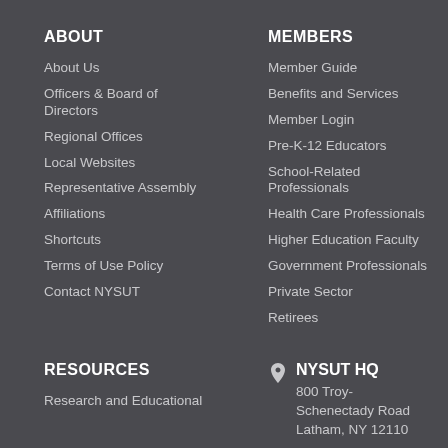ABOUT
About Us
Officers & Board of Directors
Regional Offices
Local Websites
Representative Assembly
Affiliations
Shortcuts
Terms of Use Policy
Contact NYSUT
MEMBERS
Member Guide
Benefits and Services
Member Login
Pre-K-12 Educators
School-Related Professionals
Health Care Professionals
Higher Education Faculty
Government Professionals
Private Sector
Retirees
RESOURCES
Research and Educational
NYSUT HQ
800 Troy-Schenectady Road
Latham, NY 12110